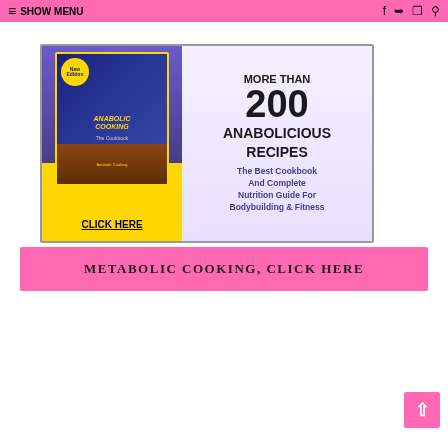≡ SHOW MENU
[Figure (illustration): Anabolic Cooking cookbook advertisement banner. Left side shows a blue book cover with gold text 'Anabolic Cooking - The Cookbook' and a yellow badge, with a 'CLICK HERE' button on yellow background. Right side on light purple background shows text: MORE THAN 200 ANABOLICIOUS RECIPES - The Best Cookbook And Complete Nutrition Guide For Bodybuilding & Fitness.]
METABOLIC COOKING, CLICK HERE
[Figure (photo): Close-up food photo of a grilled chicken breast topped with tomato salsa, served with green vegetables. Yellow text overlay reads '250 QUICK'.]